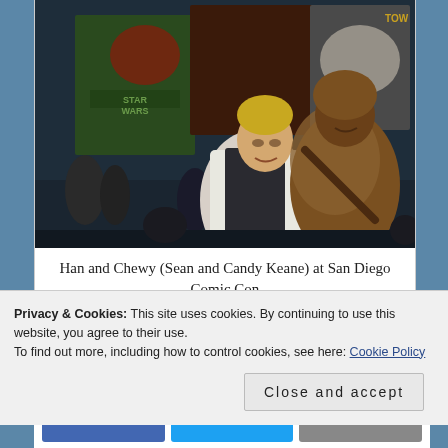[Figure (photo): Two people in Star Wars costumes at San Diego Comic Con. A man dressed as Han Solo in white shirt and dark vest, and a woman dressed as Chewbacca in a fur costume. Star Wars displays and banners visible in the background.]
Han and Chewy (Sean and Candy Keane) at San Diego Comic Con
Privacy & Cookies: This site uses cookies. By continuing to use this website, you agree to their use.
To find out more, including how to control cookies, see here: Cookie Policy
Close and accept